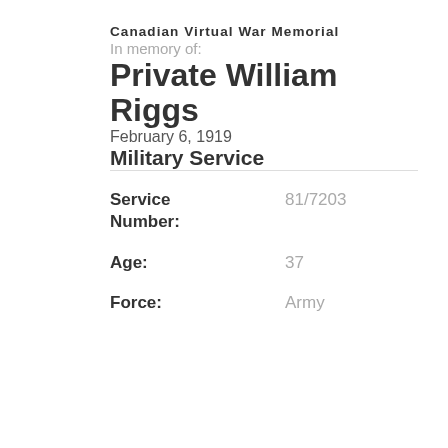Canadian Virtual War Memorial
In memory of:
Private William Riggs
February 6, 1919
Military Service
| Field | Value |
| --- | --- |
| Service Number: | 81/7203 |
| Age: | 37 |
| Force: | Army |